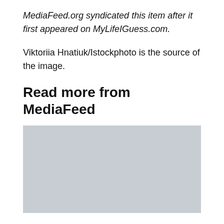MediaFeed.org syndicated this item after it first appeared on MyLifeIGuess.com.
Viktoriia Hnatiuk/Istockphoto is the source of the image.
Read more from MediaFeed
[Figure (photo): Gray placeholder image block]